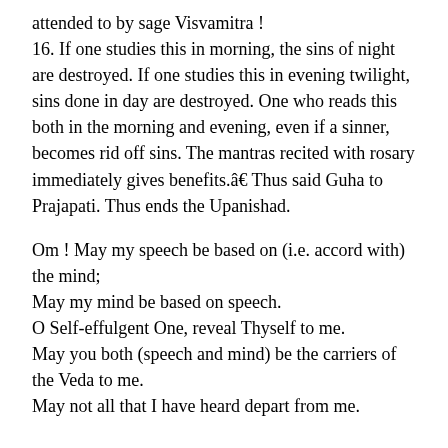attended to by sage Visvamitra !
16. If one studies this in morning, the sins of night are destroyed. If one studies this in evening twilight, sins done in day are destroyed. One who reads this both in the morning and evening, even if a sinner, becomes rid off sins. The mantras recited with rosary immediately gives benefits.â€ Thus said Guha to Prajapati. Thus ends the Upanishad.
Om ! May my speech be based on (i.e. accord with) the mind;
May my mind be based on speech.
O Self-effulgent One, reveal Thyself to me.
May you both (speech and mind) be the carriers of the Veda to me.
May not all that I have heard depart from me.